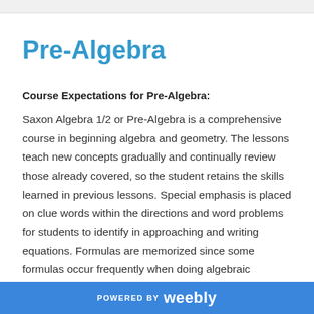Pre-Algebra
Course Expectations for Pre-Algebra:
Saxon Algebra 1/2 or Pre-Algebra is a comprehensive course in beginning algebra and geometry. The lessons teach new concepts gradually and continually review those already covered, so the student retains the skills learned in previous lessons. Special emphasis is placed on clue words within the directions and word problems for students to identify in approaching and writing equations. Formulas are memorized since some formulas occur frequently when doing algebraic manipulations and working through
POWERED BY weebly